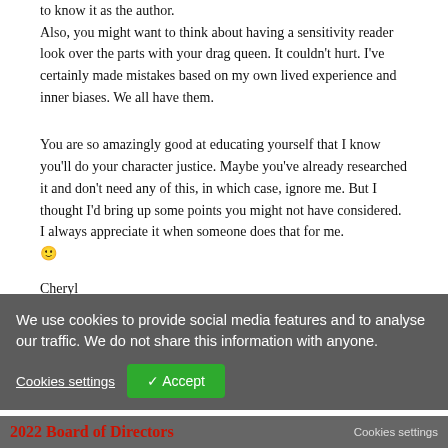to know it as the author.
Also, you might want to think about having a sensitivity reader look over the parts with your drag queen. It couldn't hurt. I've certainly made mistakes based on my own lived experience and inner biases. We all have them.
You are so amazingly good at educating yourself that I know you'll do your character justice. Maybe you've already researched it and don't need any of this, in which case, ignore me. But I thought I'd bring up some points you might not have considered. I always appreciate it when someone does that for me.
🙂
Cheryl
We use cookies to provide social media features and to analyse our traffic. We do not share this information with anyone.
Cookies settings
✓ Accept
2022 Board of Directors
Cookies settings